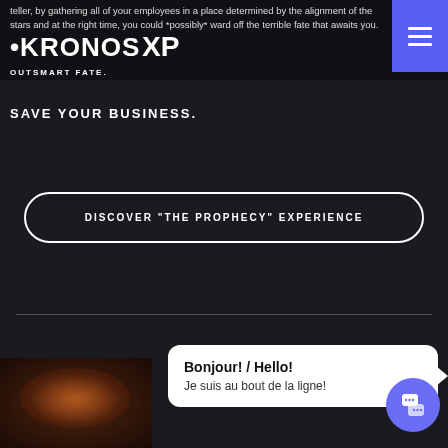teller, by gathering all of your employees in a place determined by the alignment of the stars and at the right time, you could *possibly* ward off the terrible fate that awaits you.
[Figure (logo): KRONOS XP logo in white on dark background with tagline OUTSMART FATE.]
SAVE YOUR BUSINESS.
DISCOVER "THE PROPHECY" EXPERIENCE
Bonjour! / Hello! Je suis au bout de la ligne!
[Figure (photo): Dark atmospheric image with orange/fire glow at bottom left of page]